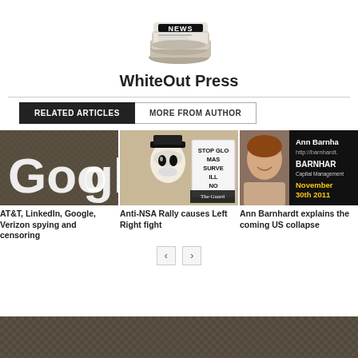[Figure (illustration): Stack of newspapers with NEWS headline on top]
WhiteOut Press
RELATED ARTICLES  MORE FROM AUTHOR
[Figure (photo): Google logo on a textured wall]
AT&T, LinkedIn, Google, Verizon spying and censoring
[Figure (photo): Person in Guy Fawkes mask holding STOP GLOBAL MASS SURVEILLANCE NOW sign, The Guardian]
Anti-NSA Rally causes Left Right fight
[Figure (photo): Ann Barnhardt headshot with Barnhardt Capital Management logo and November 30th 2011 text]
Ann Barnhardt explains the coming US collapse
[Figure (photo): Bottom strip showing a textured wall/surface]